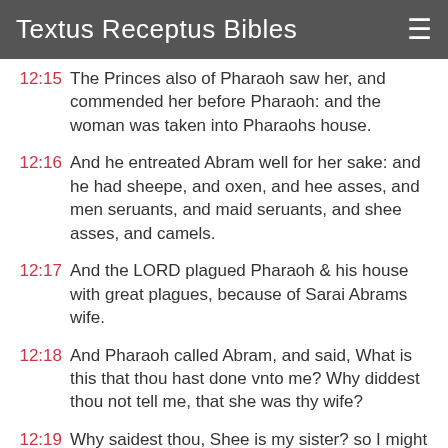Textus Receptus Bibles
12:15 The Princes also of Pharaoh saw her, and commended her before Pharaoh: and the woman was taken into Pharaohs house.
12:16 And he entreated Abram well for her sake: and he had sheepe, and oxen, and hee asses, and men seruants, and maid seruants, and shee asses, and camels.
12:17 And the LORD plagued Pharaoh & his house with great plagues, because of Sarai Abrams wife.
12:18 And Pharaoh called Abram, and said, What is this that thou hast done vnto me? Why diddest thou not tell me, that she was thy wife?
12:19 Why saidest thou, Shee is my sister? so I might haue taken her to mee to wife: now